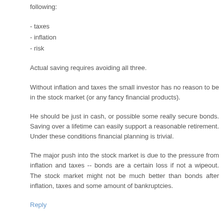following:
- taxes
- inflation
- risk
Actual saving requires avoiding all three.
Without inflation and taxes the small investor has no reason to be in the stock market (or any fancy financial products).
He should be just in cash, or possible some really secure bonds. Saving over a lifetime can easily support a reasonable retirement. Under these conditions financial planning is trivial.
The major push into the stock market is due to the pressure from inflation and taxes -- bonds are a certain loss if not a wipeout. The stock market might not be much better than bonds after inflation, taxes and some amount of bankruptcies.
Reply